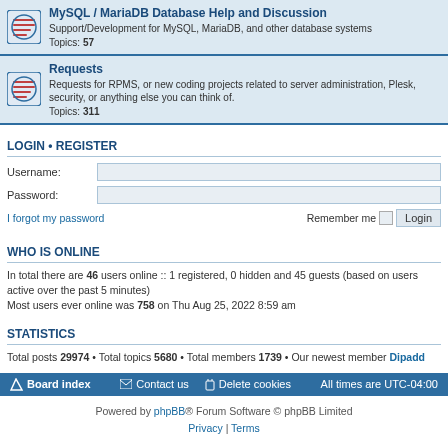MySQL / MariaDB Database Help and Discussion — Support/Development for MySQL, MariaDB, and other database systems — Topics: 57
Requests — Requests for RPMS, or new coding projects related to server administration, Plesk, security, or anything else you can think of. — Topics: 311
LOGIN • REGISTER
Username:
Password:
I forgot my password   Remember me  Login
WHO IS ONLINE
In total there are 46 users online :: 1 registered, 0 hidden and 45 guests (based on users active over the past 5 minutes)
Most users ever online was 758 on Thu Aug 25, 2022 8:59 am
STATISTICS
Total posts 29974 • Total topics 5680 • Total members 1739 • Our newest member Dipadd
Board index   Contact us   Delete cookies   All times are UTC-04:00
Powered by phpBB® Forum Software © phpBB Limited
Privacy | Terms